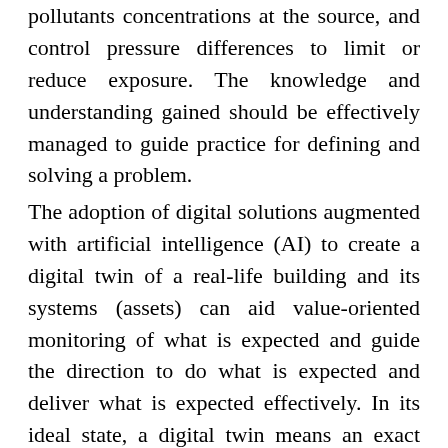pollutants concentrations at the source, and control pressure differences to limit or reduce exposure. The knowledge and understanding gained should be effectively managed to guide practice for defining and solving a problem.
The adoption of digital solutions augmented with artificial intelligence (AI) to create a digital twin of a real-life building and its systems (assets) can aid value-oriented monitoring of what is expected and guide the direction to do what is expected and deliver what is expected effectively. In its ideal state, a digital twin means an exact representation of real-life